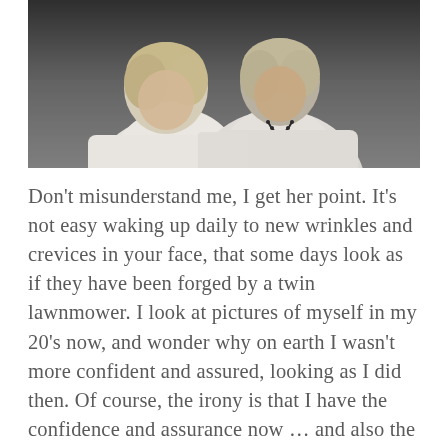[Figure (photo): Photograph of two people with blonde/gray hair wearing white tops, appearing to be older women, photographed outdoors with a dark background.]
Don't misunderstand me, I get her point. It's not easy waking up daily to new wrinkles and crevices in your face, that some days look as if they have been forged by a twin lawnmower. I look at pictures of myself in my 20's now, and wonder why on earth I wasn't more confident and assured, looking as I did then. Of course, the irony is that I have the confidence and assurance now … and also the lines, bags and cellulite that come with being older.